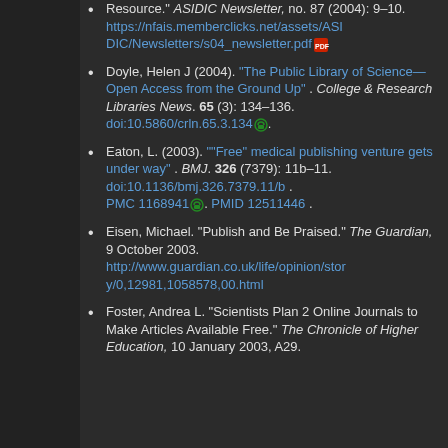Resource." ASIDIC Newsletter, no. 87 (2004): 9–10. https://nfais.memberclicks.net/assets/ASIDIC/Newsletters/s04_newsletter.pdf
Doyle, Helen J (2004). "The Public Library of Science—Open Access from the Ground Up" . College & Research Libraries News. 65 (3): 134–136. doi:10.5860/crln.65.3.134
Eaton, L. (2003). ""Free" medical publishing venture gets under way" . BMJ. 326 (7379): 11b–11. doi:10.1136/bmj.326.7379.11/b . PMC 1168941. PMID 12511446 .
Eisen, Michael. "Publish and Be Praised." The Guardian, 9 October 2003. http://www.guardian.co.uk/life/opinion/story/0,12981,1058578,00.html
Foster, Andrea L. "Scientists Plan 2 Online Journals to Make Articles Available Free." The Chronicle of Higher Education, 10 January 2003, A29.